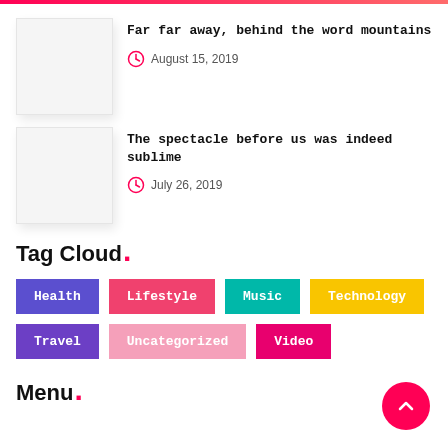[Figure (photo): Placeholder thumbnail image for article 1]
Far far away, behind the word mountains
August 15, 2019
[Figure (photo): Placeholder thumbnail image for article 2]
The spectacle before us was indeed sublime
July 26, 2019
Tag Cloud.
Health
Lifestyle
Music
Technology
Travel
Uncategorized
Video
Menu.